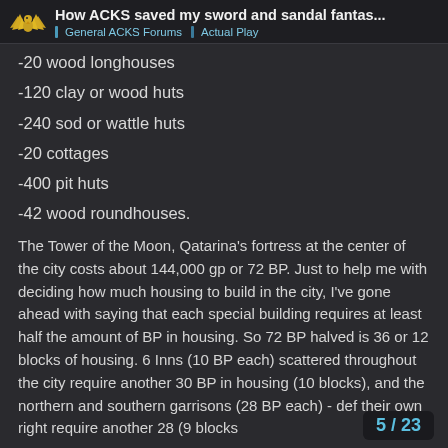How ACKS saved my sword and sandal fantas... | General ACKS Forums | Actual Play
-20 wood longhouses
-120 clay or wood huts
-240 sod or wattle huts
-20 cottages
-400 pit huts
-42 wood roundhouses.
The Tower of the Moon, Qatarina's fortress at the center of the city costs about 144,000 gp or 72 BP. Just to help me with deciding how much housing to build in the city, I've gone ahead with saying that each special building requires at least half the amount of BP in housing. So 72 BP halved is 36 or 12 blocks of housing. 6 Inns (10 BP each) scattered throughout the city require another 30 BP in housing (10 blocks), and the northern and southern garrisons (28 BP each) - def their own right require another 28 (9 blocks
5 / 23